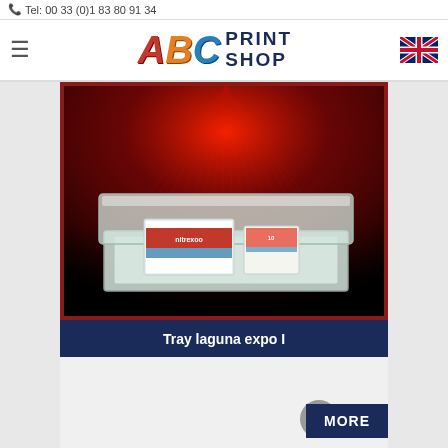Tel: 00 33 (0)1 83 80 91 34
[Figure (logo): ABC Print Shop logo with colorful letters A, B, C and PRINT SHOP text in dark navy, hamburger menu icon on left, UK flag icon on right]
[Figure (photo): Tray laguna expo I - a clear acrylic/plastic display tray with a lid, containing pharmaceutical or medical product boxes (nitrex branded), shown against a dramatic red spotlight background]
Tray laguna expo I
MORE